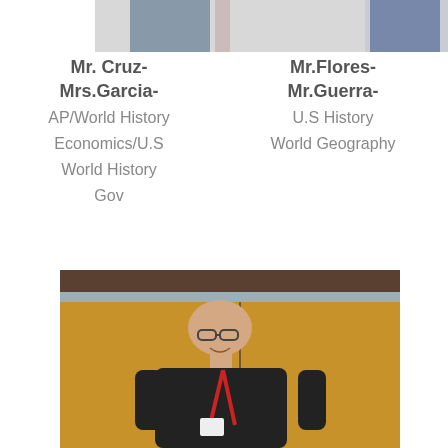[Figure (photo): Partial cropped photos of two teachers (Mr. Cruz and Mr. Flores) at the top of the page]
Mr. Cruz-
Mrs.Garcia-
AP/World History
Economics/U.S
World History
Gov
Mr.Flores-
Mr.Guerra-
U.S History
World Geography
[Figure (photo): A bald man with glasses wearing a black polo shirt and a red lanyard, standing in front of wooden cabinet doors in a classroom]